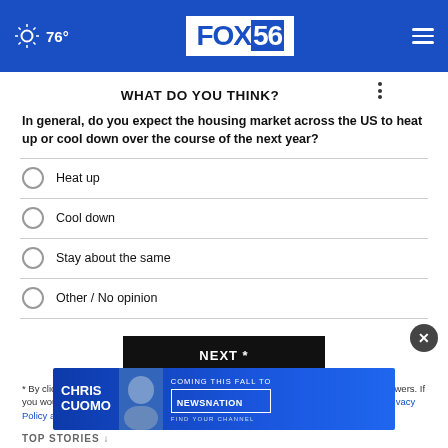76° FOX 56
WHAT DO YOU THINK?
In general, do you expect the housing market across the US to heat up or cool down over the course of the next year?
Heat up
Cool down
Stay about the same
Other / No opinion
NEXT *
* By clicking "NEXT" you agree to the following: We use cookies to track your survey answers. If you would like to continue with this survey, please read and agree to the CivicScience Privacy Policy and Terms of Use
[Figure (photo): Advertisement banner for Chris Cuomo coming to NewsNation this fall]
TOP STORIES ↓